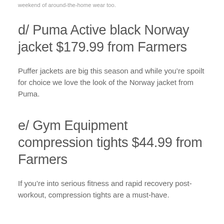weekend of around-the-home wear too.
d/ Puma Active black Norway jacket $179.99 from Farmers
Puffer jackets are big this season and while you're spoilt for choice we love the look of the Norway jacket from Puma.
e/ Gym Equipment compression tights $44.99 from Farmers
If you're into serious fitness and rapid recovery post-workout, compression tights are a must-have.